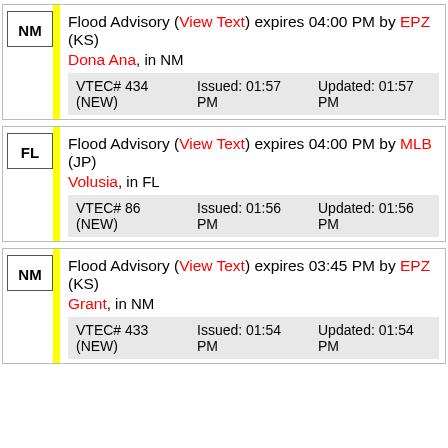NM Flood Advisory (View Text) expires 04:00 PM by EPZ (KS) Dona Ana, in NM VTEC# 434 (NEW) Issued: 01:57 PM Updated: 01:57 PM
FL Flood Advisory (View Text) expires 04:00 PM by MLB (JP) Volusia, in FL VTEC# 86 (NEW) Issued: 01:56 PM Updated: 01:56 PM
NM Flood Advisory (View Text) expires 03:45 PM by EPZ (KS) Grant, in NM VTEC# 433 (NEW) Issued: 01:54 PM Updated: 01:54 PM